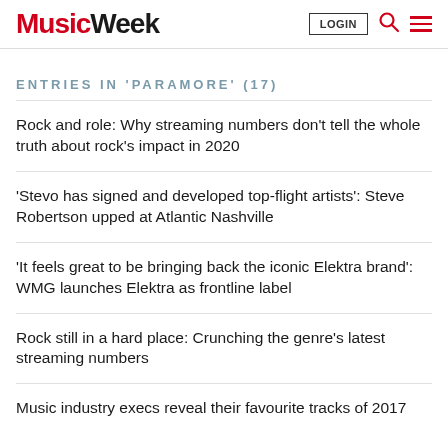Music Week
ENTRIES IN 'PARAMORE' (17)
Rock and role: Why streaming numbers don't tell the whole truth about rock's impact in 2020
'Stevo has signed and developed top-flight artists': Steve Robertson upped at Atlantic Nashville
'It feels great to be bringing back the iconic Elektra brand': WMG launches Elektra as frontline label
Rock still in a hard place: Crunching the genre's latest streaming numbers
Music industry execs reveal their favourite tracks of 2017